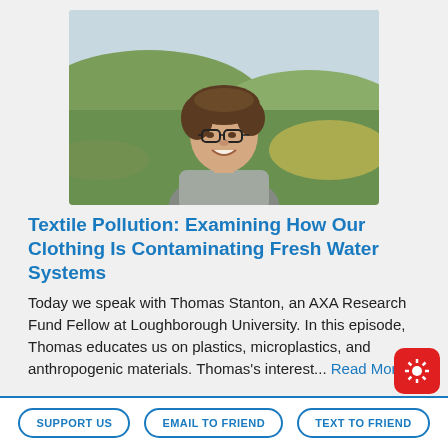[Figure (photo): Headshot of a young man with glasses, brown wavy hair, smiling, outdoors on a green hillside.]
Textile Pollution: Examining How Our Clothing Is Contaminating Fresh Water Systems
Today we speak with Thomas Stanton, an AXA Research Fund Fellow at Loughborough University. In this episode, Thomas educates us on plastics, microplastics, and anthropogenic materials. Thomas's interest... Read More
SUPPORT US   EMAIL TO FRIEND   TEXT TO FRIEND